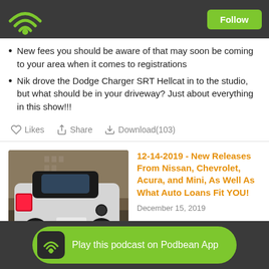Follow
New fees you should be aware of that may soon be coming to your area when it comes to registrations
Nik drove the Dodge Charger SRT Hellcat in to the studio, but what should be in your driveway? Just about everything in this show!!!
Likes  Share  Download(103)
[Figure (photo): Rear view of a white Mini Cooper car parked on a street]
12-14-2019 - New Releases From Nissan, Chevrolet, Acura, and Mini, As Well As What Auto Loans Fit YOU!
December 15, 2019
Play this podcast on Podbean App